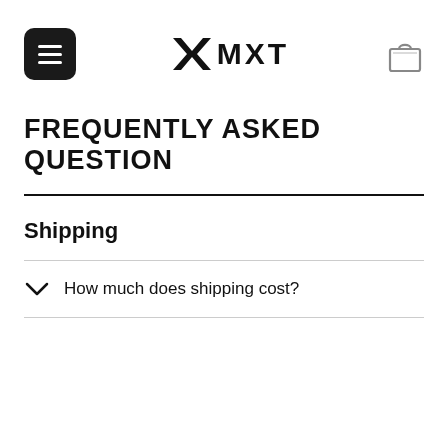≡ MXT [cart icon]
FREQUENTLY ASKED QUESTION
Shipping
How much does shipping cost?